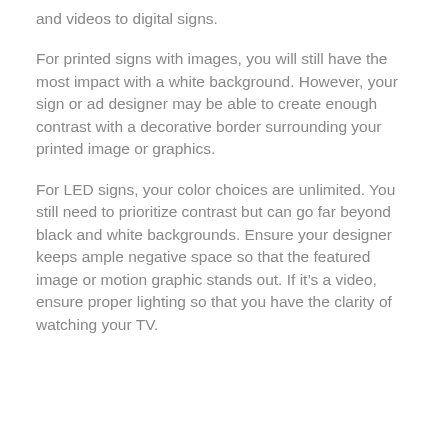and videos to digital signs.
For printed signs with images, you will still have the most impact with a white background. However, your sign or ad designer may be able to create enough contrast with a decorative border surrounding your printed image or graphics.
For LED signs, your color choices are unlimited. You still need to prioritize contrast but can go far beyond black and white backgrounds. Ensure your designer keeps ample negative space so that the featured image or motion graphic stands out. If it’s a video, ensure proper lighting so that you have the clarity of watching your TV.